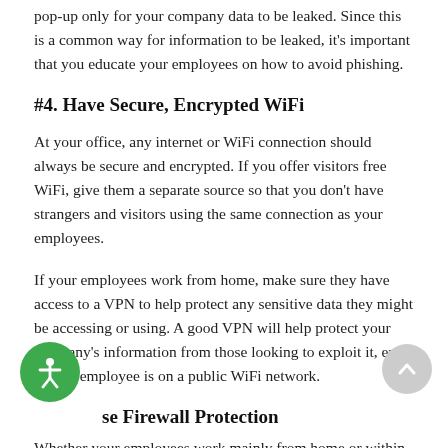pop-up only for your company data to be leaked. Since this is a common way for information to be leaked, it's important that you educate your employees on how to avoid phishing.
#4. Have Secure, Encrypted WiFi
At your office, any internet or WiFi connection should always be secure and encrypted. If you offer visitors free WiFi, give them a separate source so that you don't have strangers and visitors using the same connection as your employees.
If your employees work from home, make sure they have access to a VPN to help protect any sensitive data they might be accessing or using. A good VPN will help protect your company's information from those looking to exploit it, even if your employee is on a public WiFi network.
se Firewall Protection
Whether your employees work mainly from home or within an